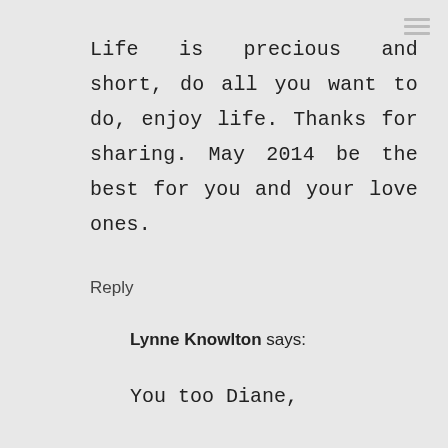Life is precious and short, do all you want to do, enjoy life. Thanks for sharing. May 2014 be the best for you and your love ones.
Reply
Lynne Knowlton says:
You too Diane,